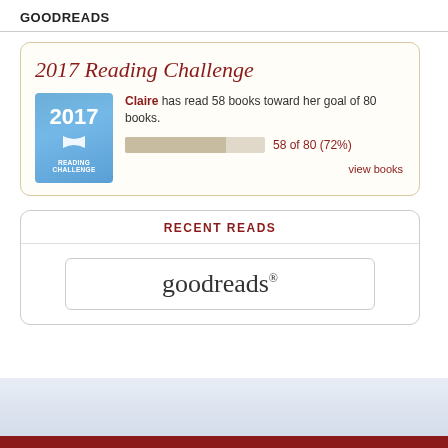GOODREADS
[Figure (screenshot): Goodreads 2017 Reading Challenge widget showing a progress bar. Claire has read 58 books toward her goal of 80 books (72%). Includes a blue 2017 Reading Challenge badge.]
RECENT READS
[Figure (logo): Goodreads logo in a rounded rectangle box]